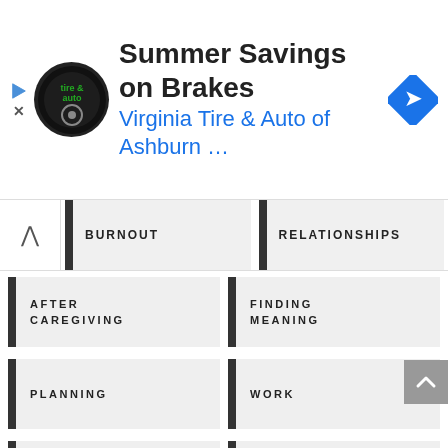[Figure (infographic): Advertisement banner: Virginia Tire & Auto of Ashburn - Summer Savings on Brakes, with logo and navigation arrow icon]
BURNOUT
RELATIONSHIPS
AFTER CAREGIVING
FINDING MEANING
PLANNING
WORK
DYING
GRIEF
FINDING SUPPORT
ALL STORIES